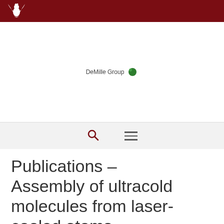Yale University / DeMille Group
[Figure (logo): Yale eagle crest logo in white on dark red background]
[Figure (logo): DeMille Group logo with text and green circle]
[Figure (other): Navigation bar with search icon and hamburger menu icon]
Publications – Assembly of ultracold molecules from laser-cooled atoms
Production of RbCs Molecules in the Rovibronic